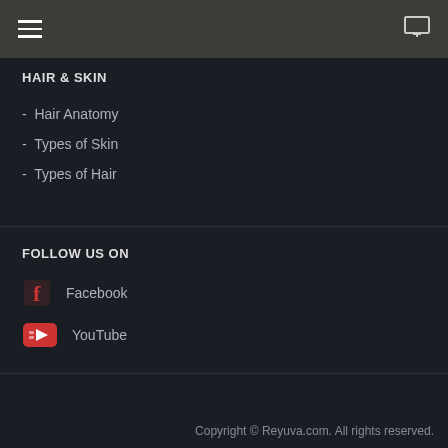HAIR & SKIN
Hair Anatomy
Types of Skin
Types of Hair
FOLLOW US ON
Facebook
YouTube
Copyright © Reyuva.com. All rights reserved.